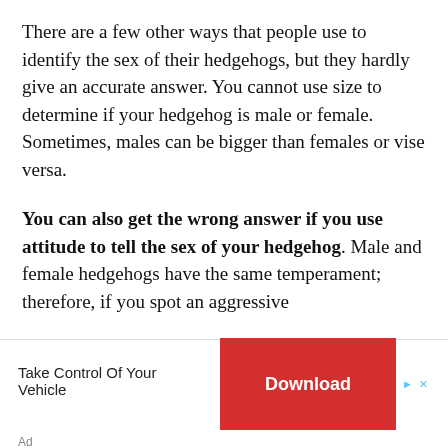There are a few other ways that people use to identify the sex of their hedgehogs, but they hardly give an accurate answer. You cannot use size to determine if your hedgehog is male or female. Sometimes, males can be bigger than females or vise versa.
You can also get the wrong answer if you use attitude to tell the sex of your hedgehog. Male and female hedgehogs have the same temperament; therefore, if you spot an aggressive
[Figure (other): Advertisement banner: 'Take Control Of Your Vehicle' with a red Download button and ad controls (play and close icons). Ad label at bottom left.]